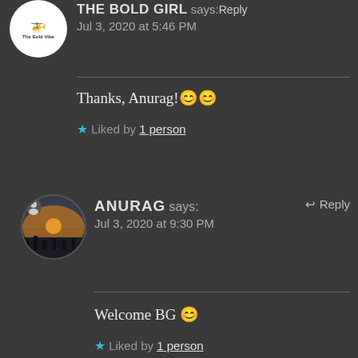THE BOLD GIRL says: Reply
Jul 3, 2020 at 5:46 PM
Thanks, Anurag! 😊😊
★ Liked by 1 person
ANURAG says:   ↩ Reply
Jul 3, 2020 at 9:30 PM
Welcome BG 😊
★ Liked by 1 person
Advertisements
[Figure (screenshot): Advertisement banner: Create surveys, polls, quizzes, and forms. WordPress logo and Survey Anyplace logo shown on dark blue background.]